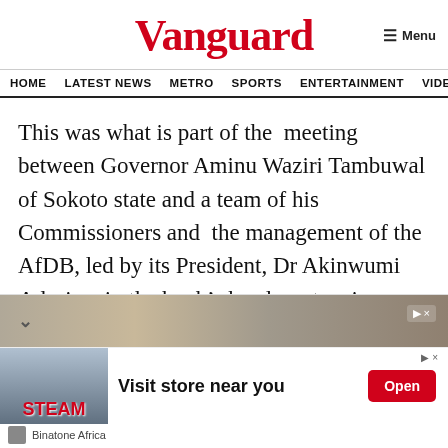Vanguard
HOME  LATEST NEWS  METRO  SPORTS  ENTERTAINMENT  VIDEOS
This was what is part of the  meeting between Governor Aminu Waziri Tambuwal of Sokoto state and a team of his Commissioners and  the management of the AfDB, led by its President, Dr Akinwumi Adesina, in the bank’s headquarters in Abidjan, Côte d’Ivoire.
[Figure (photo): Partially visible newspaper article photo and advertisement banner for Binatone Africa Steam product with 'Visit store near you' and Open button]